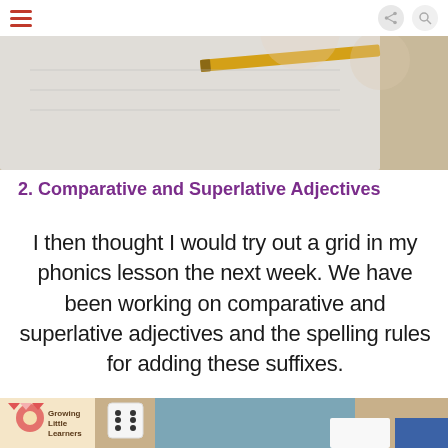[Figure (photo): Top portion of classroom photo showing a notebook/workbook and a Growing Little Learners branded card partially visible at top right.]
Menu | Share | Search icons
2. Comparative and Superlative Adjectives
I then thought I would try out a grid in my phonics lesson the next week. We have been working on comparative and superlative adjectives and the spelling rules for adding these suffixes.
[Figure (photo): Bottom portion showing a classroom table with a dice, blue patterned mat, Growing Little Learners branded card visible at left, and a student's hand/arm in blue clothing.]